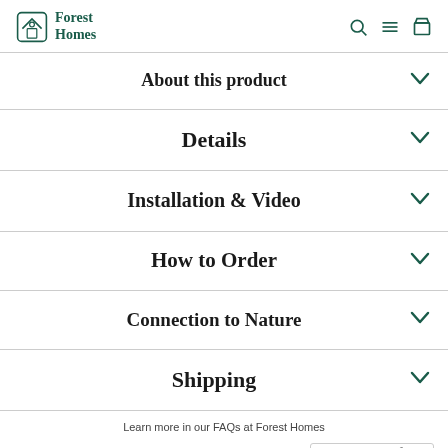Forest Homes
About this product
Details
Installation & Video
How to Order
Connection to Nature
Shipping
Learn more in our FAQs at Forest Homes
[Figure (logo): TrustedSite CERTIFIED SECURE badge]